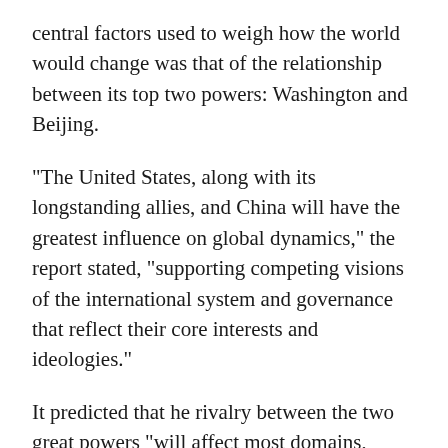central factors used to weigh how the world would change was that of the relationship between its top two powers: Washington and Beijing.
“The United States, along with its longstanding allies, and China will have the greatest influence on global dynamics,” the report stated, “supporting competing visions of the international system and governance that reflect their core interests and ideologies.”
It predicted that he rivalry between the two great powers “will affect most domains, straining and in some cases reshaping existing alliances and international organizations that have underpinned the international order for decades.”
NEWSWEEK NEWSLETTER SIGN-UP >
Among the most sizable shifts foreseen in the global